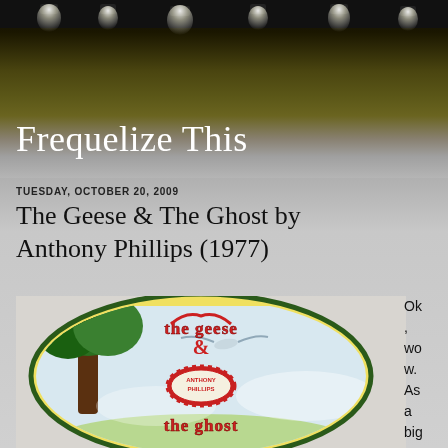Frequelize This
TUESDAY, OCTOBER 20, 2009
The Geese & The Ghost by Anthony Phillips (1977)
[Figure (illustration): Album cover art for 'The Geese & The Ghost' by Anthony Phillips (1977), circular design with gothic lettering, tree imagery, and yellow background, with 'Anthony Phillips' in center]
Ok , wo w. As a big G